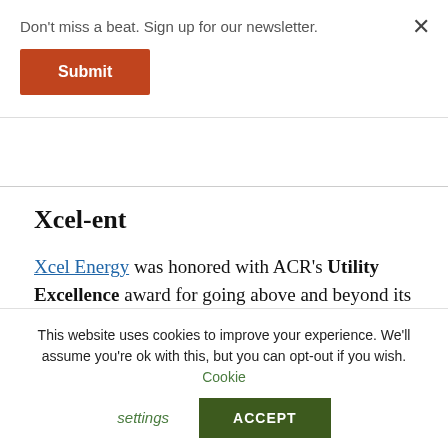Don't miss a beat. Sign up for our newsletter.
[Figure (other): Orange Submit button for newsletter signup]
×
Xcel-ent
Xcel Energy was honored with ACR's Utility Excellence award for going above and beyond its mandatory renewable energy installation to offer additional consumer offsetting options.
While thanking the academy, Xcel's Steven Plevniak described the utility's innovative
This website uses cookies to improve your experience. We'll assume you're ok with this, but you can opt-out if you wish. Cookie settings ACCEPT